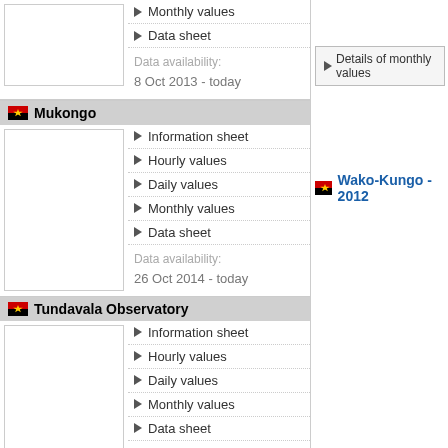Monthly values
Data sheet
Data availability:
8 Oct 2013 - today
Mukongo
Information sheet
Hourly values
Daily values
Monthly values
Data sheet
Data availability:
26 Oct 2014 - today
Tundavala Observatory
Information sheet
Hourly values
Daily values
Monthly values
Data sheet
Data availability:
19 Mar 2015 - 18 Sep 2020
Bibala
Information sheet
Hourly values
Daily values
Details of monthly values
Wako-Kungo - 2012
Details of monthly values